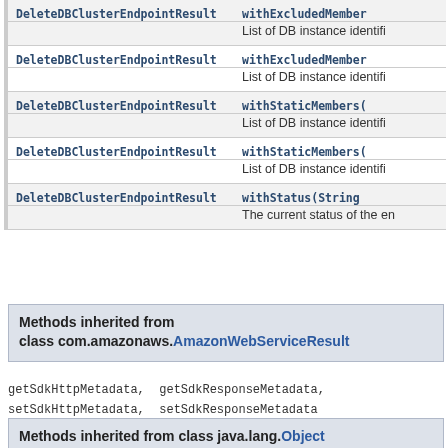| Class | Method | Description |
| --- | --- | --- |
| DeleteDBClusterEndpointResult | withExcludedMembers( | List of DB instance identifi |
| DeleteDBClusterEndpointResult | withExcludedMembers( | List of DB instance identifi |
| DeleteDBClusterEndpointResult | withStaticMembers( | List of DB instance identifi |
| DeleteDBClusterEndpointResult | withStaticMembers( | List of DB instance identifi |
| DeleteDBClusterEndpointResult | withStatus(String | The current status of the en |
Methods inherited from class com.amazonaws.AmazonWebServiceResult
getSdkHttpMetadata, getSdkResponseMetadata, setSdkHttpMetadata, setSdkResponseMetadata
Methods inherited from class java.lang.Object